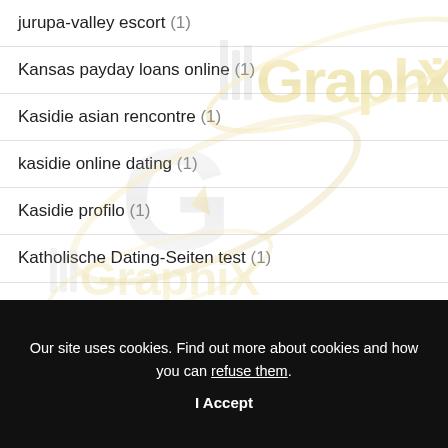jurupa-valley escort (1)
Kansas payday loans online (1)
Kasidie asian rencontre (1)
kasidie online dating (1)
Kasidie profilo (1)
Katholische Dating-Seiten test (1)
Our site uses cookies. Find out more about cookies and how you can refuse them.
I Accept